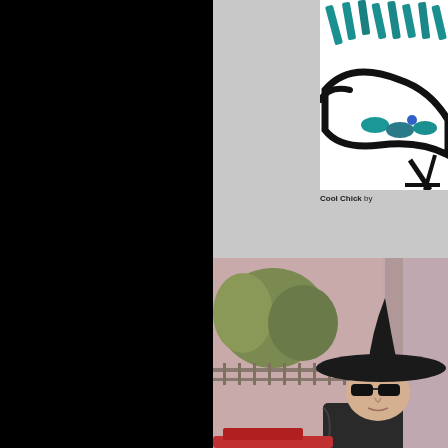[Figure (illustration): Partial illustration showing a stylized bird or creature with bold black outlines, teal/blue color accents and shapes on a white background — upper right portion visible, cropped]
Cool Chick by
[Figure (photo): Photo of a person wearing a large black witch hat, sunglasses, and dark costume, standing outdoors in front of a building with greenery; pinkish/warm toned photo]